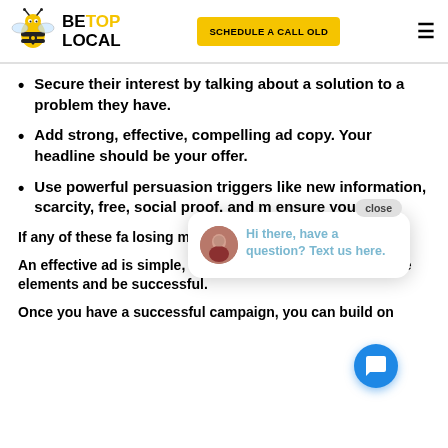BeTopLocal — SCHEDULE A CALL OLD
Secure their interest by talking about a solution to a problem they have.
Add strong, effective, compelling ad copy. Your headline should be your offer.
Use powerful persuasion triggers like new information, scarcity, free, social proof, and m… ensure you gi…
If any of these fa… losing money fa…
An effective ad is simple, but it cannot neglect any of these elements and be successful.
Once you have a successful campaign, you can build on th…
[Figure (screenshot): Chat widget overlay showing avatar of a woman and text: 'Hi there, have a question? Text us here.' with a close button and a blue chat bubble icon.]